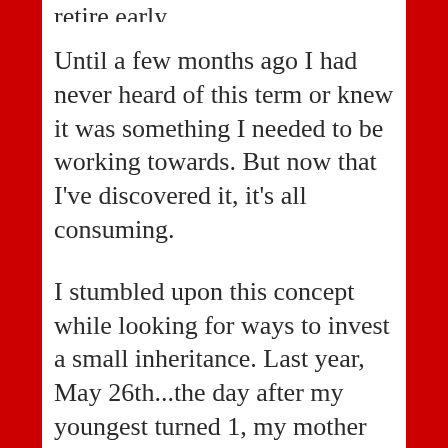retire early.
Until a few months ago I had never heard of this term or knew it was something I needed to be working towards. But now that I've discovered it, it's all consuming.
I stumbled upon this concept while looking for ways to invest a small inheritance. Last year, May 26th...the day after my youngest turned 1, my mother transitioned after giving cancer the fight of its life for a full month. It was just too late to fight that beast.